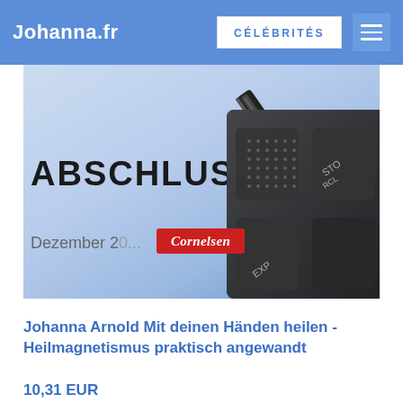Johanna.fr | CÉLÉBRITÉS
[Figure (photo): Photo of a document with 'ABSCHLUSS' text and 'Dezember 2...' text, a calculator with Cornelsen branding, and a pen on a blue-tinted background.]
Johanna Arnold Mit deinen Händen heilen - Heilmagnetismus praktisch angewandt
10,31 EUR